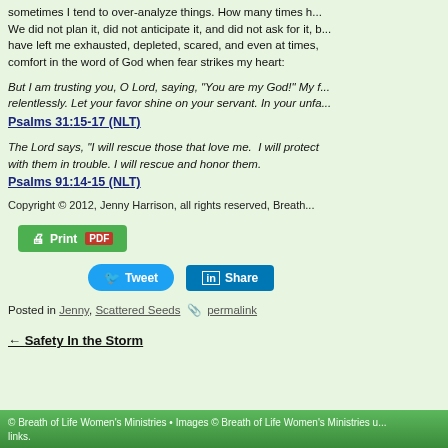sometimes I tend to over-analyze things. How many times h... We did not plan it, did not anticipate it, and did not ask for it, b... have left me exhausted, depleted, scared, and even at times, comfort in the word of God when fear strikes my heart:
But I am trusting you, O Lord, saying, "You are my God!" My f... relentlessly. Let your favor shine on your servant. In your unfa...
Psalms 31:15-17 (NLT)
The Lord says, "I will rescue those that love me. I will protect... with them in trouble. I will rescue and honor them.
Psalms 91:14-15 (NLT)
Copyright © 2012, Jenny Harrison, all rights reserved, Breath...
[Figure (screenshot): Green Print PDF button with printer icon]
[Figure (screenshot): Blue Tweet button and LinkedIn Share button]
Posted in Jenny, Scattered Seeds  🔗 permalink
← Safety In the Storm
© Breath of Life Women's Ministries • Images © Breath of Life Women's Ministries u... links.